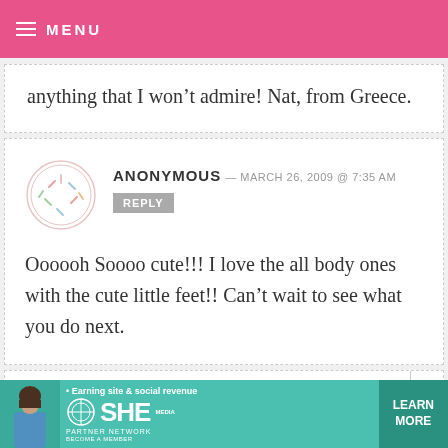MENU
anything that I won't admire! Nat, from Greece.
ANONYMOUS — MARCH 26, 2009 @ 7:35 AM
Oooooh Soooo cute!!! I love the all body ones with the cute little feet!! Can't wait to see what you do next.
[Figure (infographic): SHE Partner Network advertisement banner with woman photo, tagline 'Earning site & social revenue', SHE logo, LEARN MORE button]